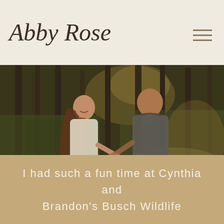Abby Rose
[Figure (photo): A couple walking hand-in-hand through a sunlit forest path. The woman has long brown hair and wears a white top, looking back over her shoulder with a smile. The man with short hair wears a grey polo shirt, facing away. Warm golden-green forest light surrounds them.]
I had such a fun time at Cynthia and Brandon's Busch Wildlife